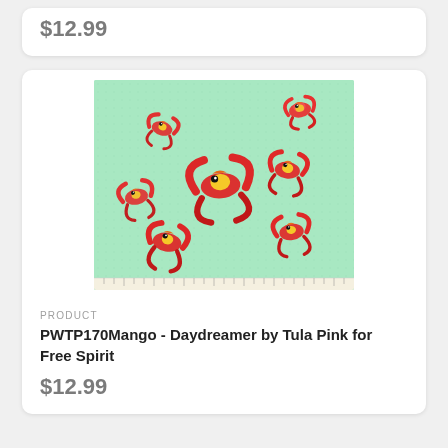$12.99
[Figure (photo): Fabric swatch showing colorful red and yellow parrots/macaws with spread wings on a mint green background, with a ruler along the bottom edge.]
PRODUCT
PWTP170Mango - Daydreamer by Tula Pink for Free Spirit
$12.99